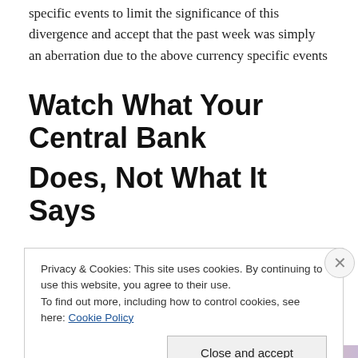Admittedly, currency markets have enough currency specific events to limit the significance of this divergence and accept that the past week was simply an aberration due to the above currency specific events
Watch What Your Central Bank Does, Not What It Says
They probably know more about where markets are going.
Privacy & Cookies: This site uses cookies. By continuing to use this website, you agree to their use.
To find out more, including how to control cookies, see here: Cookie Policy
Close and accept